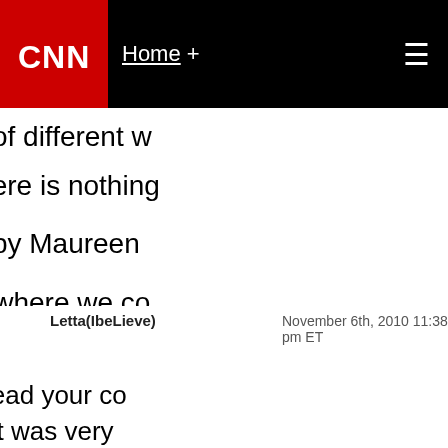CNN | Home + ☰
We're up to the challenge of different w...
With this love inside us, there is nothing...

"Different Worlds" – Sung by Maureen...

*No matter who we are or where we co...
here for the same purpose. To LOVE a...

Good Day/Good Night...L.O.V.E and Pe...
Letta(IbeLieve)
November 6th, 2010 11:38 pm ET
@Maria C
Smiling here yes....Glad to read your co...
know me so well my friend. It was very...
he is still around, yes? Also, I still trying...
get those Pecan Bars from you....LOL e...
those nice Pecans bars when I get swe...
read it is cold in New York. Last time I t...
friend and it was around the Thanksgivi...